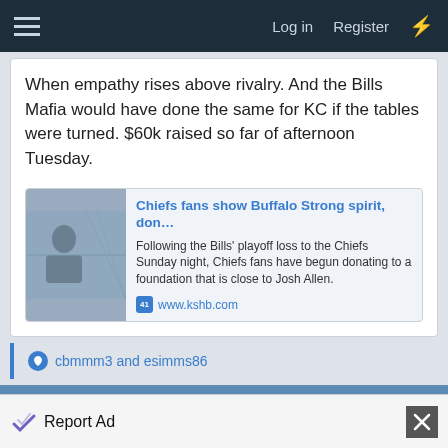Log in  Register
When empathy rises above rivalry. And the Bills Mafia would have done the same for KC if the tables were turned. $60k raised so far of afternoon Tuesday.
[Figure (screenshot): Link preview card for article: 'Chiefs fans show Buffalo Strong spirit, don…' from www.kshb.com. Description: Following the Bills' playoff loss to the Chiefs Sunday night, Chiefs fans have begun donating to a foundation that is close to Josh Allen.]
cbmmm3 and esimms86
Jan 25, 2022  #146
paligap
Report Ad